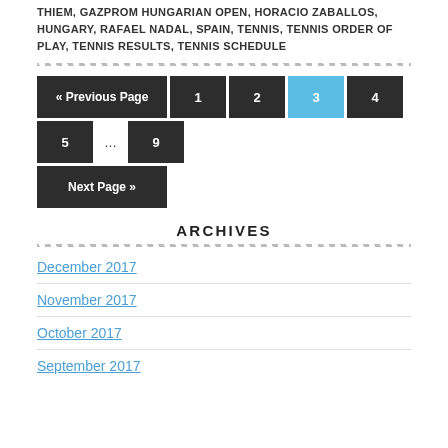THIEM, GAZPROM HUNGARIAN OPEN, HORACIO ZABALLOS, HUNGARY, RAFAEL NADAL, SPAIN, TENNIS, TENNIS ORDER OF PLAY, TENNIS RESULTS, TENNIS SCHEDULE
« Previous Page  1  2  3  4  5  …  9  Next Page »
ARCHIVES
December 2017
November 2017
October 2017
September 2017